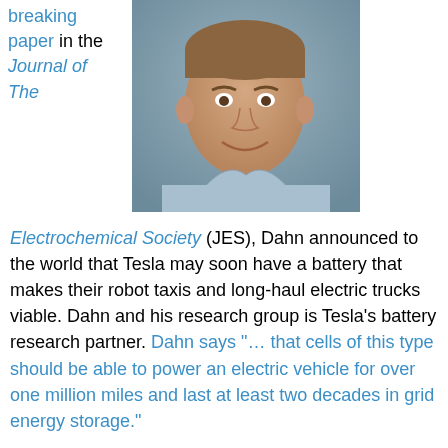breaking paper in the Journal of The
[Figure (photo): Headshot photo of a middle-aged man smiling, wearing a light blue collared shirt, against a grey background.]
Electrochemical Society (JES), Dahn announced to the world that Tesla may soon have a battery that makes their robot taxis and long-haul electric trucks viable. Dahn and his research group is Tesla's battery research partner. Dahn says "… that cells of this type should be able to power an electric vehicle for over one million miles and last at least two decades in grid energy storage."
According to Doron Aurbach, JES batteries and energy storage technical editor, "This comprehensive article is expected to be impactful in the field of batteries and energy storage. It is a very systematic study by one of the most renowned and prestigious electrochemistry groups in the world. It was a pleasure for me as a technical editor to handle this paper. It substantiates all the